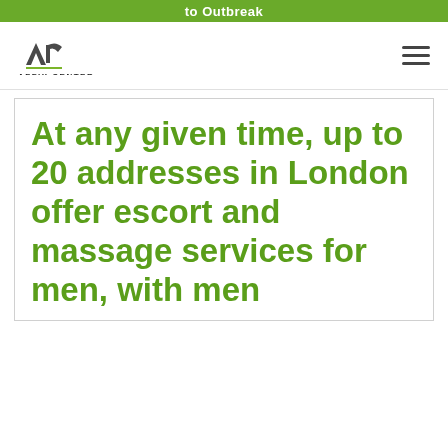to Outbreak
[Figure (logo): Affix Center logo with AC emblem and text AFFIX CENTER]
At any given time, up to 20 addresses in London offer escort and massage services for men, with men